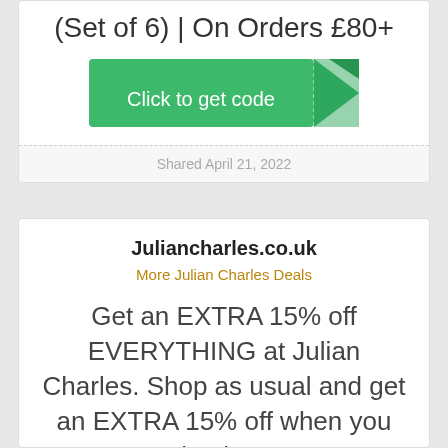(Set of 6) | On Orders £80+
[Figure (other): Green coupon button with ticket corner fold graphic labeled 'Click to get code']
Shared April 21, 2022
Juliancharles.co.uk
More Julian Charles Deals
Get an EXTRA 15% off EVERYTHING at Julian Charles. Shop as usual and get an EXTRA 15% off when you checkout.